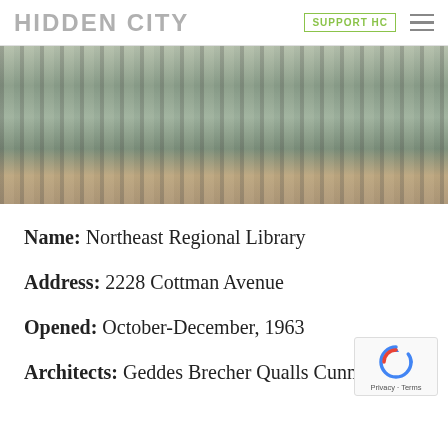HIDDEN CITY  |  SUPPORT HC
[Figure (photo): Exterior facade of Northeast Regional Library showing vertical metal fins/louvers with glass panels and trees reflected, brutalist architectural style]
Name: Northeast Regional Library
Address: 2228 Cottman Avenue
Opened: October-December, 1963
Architects: Geddes Brecher Qualls Cunningham